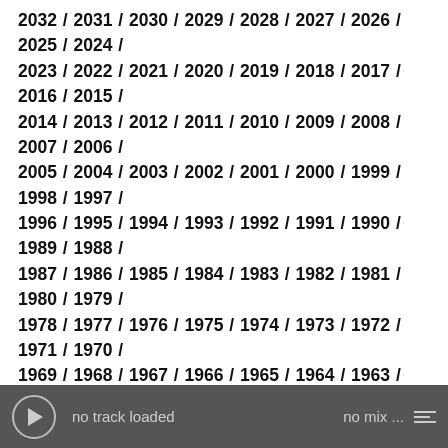2032 / 2031 / 2030 / 2029 / 2028 / 2027 / 2026 / 2025 / 2024 / 2023 / 2022 / 2021 / 2020 / 2019 / 2018 / 2017 / 2016 / 2015 / 2014 / 2013 / 2012 / 2011 / 2010 / 2009 / 2008 / 2007 / 2006 / 2005 / 2004 / 2003 / 2002 / 2001 / 2000 / 1999 / 1998 / 1997 / 1996 / 1995 / 1994 / 1993 / 1992 / 1991 / 1990 / 1989 / 1988 / 1987 / 1986 / 1985 / 1984 / 1983 / 1982 / 1981 / 1980 / 1979 / 1978 / 1977 / 1976 / 1975 / 1974 / 1973 / 1972 / 1971 / 1970 / 1969 / 1968 / 1967 / 1966 / 1965 / 1964 / 1963 / 1962 / 1961 / 1960 / 1959 / 1958 / 1957 / 1956 / 1955 / 1954 / 1953 / 1952 / 1951 / 1950 / 1949 / 1948 / 1947 / 1946 / 1945 / 1944 / 1943 / 1942 / 1941 / 1940 / 1939 / 1938 / 1937 / 1936 / 1935 / 1934 / 1933 / 1932 / 1931 / 1930 / 1929 / 1928 / 1927 / 1926 / 1925 / 1924 / 1923 / 1922 / 1921 / 1920 / 1919 / 1918 / 1917 / 1916 / 1915 / 1914 / 1913 / 1912 / 1911 / 1910 / 1909 / 1908 / 1907 / 1906 / 1905 / 1904 / 1903 / 1902 / 1901 / 1900 / 1899 / 1898 / 1897 / 1896 / 1895 / 1894 / 1893 / 1892 / 1891 / 1890 / 1889 / 1888 / 1887 / 1886 / 1885 / 1884 / 1883 / 1882 / 1881 / 1880 /
no track loaded   no mix ...  [playlist icon]